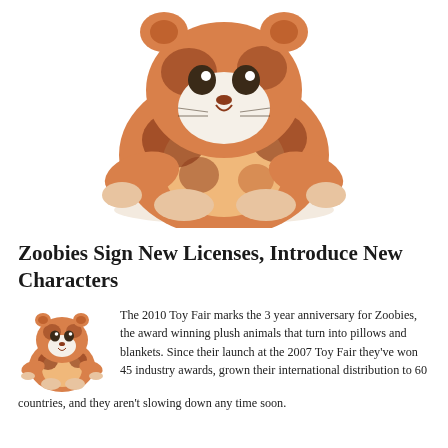[Figure (photo): A plush stuffed animal tiger/cat toy, orange and brown with a smiling face, photographed front-facing against a white background. The toy appears fluffy and child-friendly.]
Zoobies Sign New Licenses, Introduce New Characters
[Figure (photo): Small thumbnail image of the same orange and brown plush Zoobie stuffed animal toy, shown from a slight angle.]
The 2010 Toy Fair marks the 3 year anniversary for Zoobies, the award winning plush animals that turn into pillows and blankets. Since their launch at the 2007 Toy Fair they've won 45 industry awards, grown their international distribution to 60 countries, and they aren't slowing down any time soon.